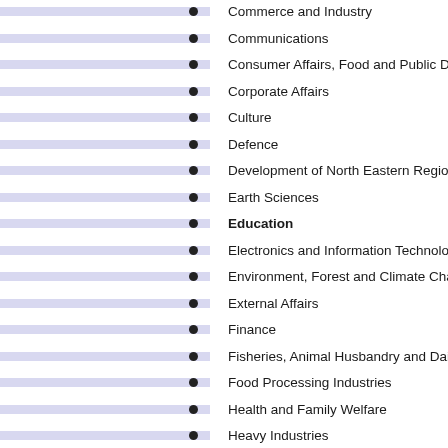Commerce and Industry
Communications
Consumer Affairs, Food and Public Distribution
Corporate Affairs
Culture
Defence
Development of North Eastern Region
Earth Sciences
Education
Electronics and Information Technology
Environment, Forest and Climate Change
External Affairs
Finance
Fisheries, Animal Husbandry and Dairying
Food Processing Industries
Health and Family Welfare
Heavy Industries
Home Affairs